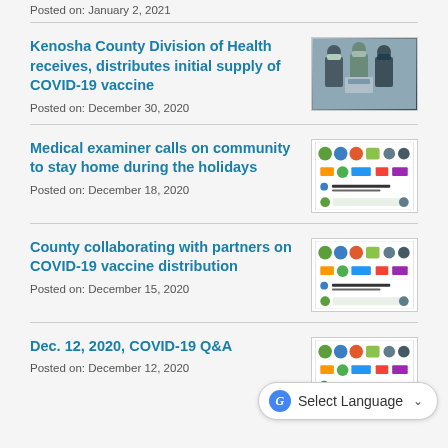Posted on: January 2, 2021
Kenosha County Division of Health receives, distributes initial supply of COVID-19 vaccine
Posted on: December 30, 2020
[Figure (photo): Group of people wearing masks holding a box/package]
Medical examiner calls on community to stay home during the holidays
Posted on: December 18, 2020
[Figure (infographic): Joint information release logos from multiple county agencies]
County collaborating with partners on COVID-19 vaccine distribution
Posted on: December 15, 2020
[Figure (infographic): Joint information release logos from multiple county agencies]
Dec. 12, 2020, COVID-19 Q&A
Posted on: December 12, 2020
[Figure (infographic): Joint information release logos from multiple county agencies]